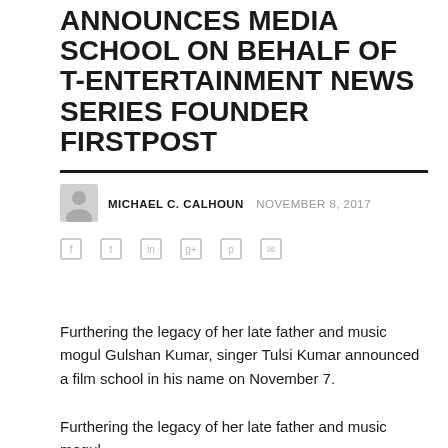ANNOUNCES MEDIA SCHOOL ON BEHALF OF T-ENTERTAINMENT NEWS SERIES FOUNDER FIRSTPOST
MICHAEL C. CALHOUN   NOVEMBER 8, 2017
[Figure (other): Social share icons row (6 icons)]
Furthering the legacy of her late father and music mogul Gulshan Kumar, singer Tulsi Kumar announced a film school in his name on November 7.
Furthering the legacy of her late father and music mogul